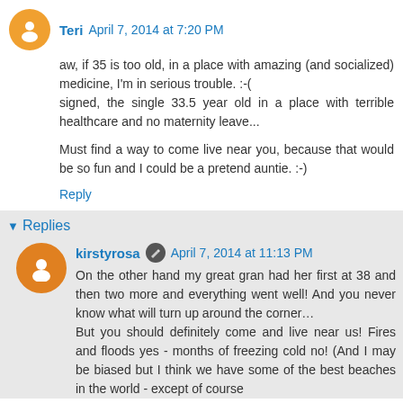Teri  April 7, 2014 at 7:20 PM
aw, if 35 is too old, in a place with amazing (and socialized) medicine, I'm in serious trouble. :-(
signed, the single 33.5 year old in a place with terrible healthcare and no maternity leave...

Must find a way to come live near you, because that would be so fun and I could be a pretend auntie. :-)
Reply
Replies
kirstyrosa  April 7, 2014 at 11:13 PM
On the other hand my great gran had her first at 38 and then two more and everything went well! And you never know what will turn up around the corner…
But you should definitely come and live near us! Fires and floods yes - months of freezing cold no! (And I may be biased but I think we have some of the best beaches in the world - except of course